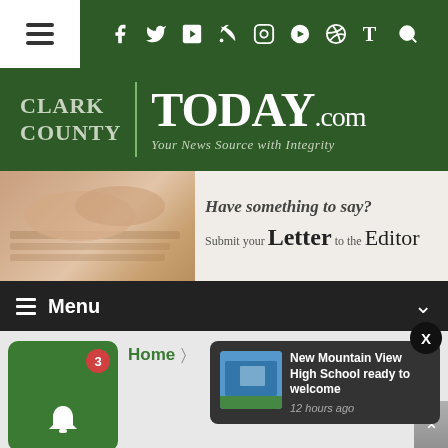Clark County Today - top navigation bar with hamburger menu and social icons
[Figure (logo): Clark County TODAY.com logo with tagline 'Your News Source with Integrity' on dark green background]
[Figure (infographic): Banner advertisement: hands on keyboard image with text 'Have something to say? Submit your Letter to the Editor']
Menu
Home
New Mountain View High School ready to welcome
12 hours ago